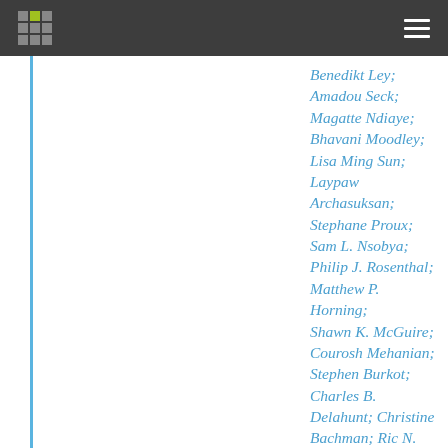Benedikt Ley; Amadou Seck; Magatte Ndiaye; Bhavani Moodley; Lisa Ming Sun; Laypaw Archasuksan; Stephane Proux; Sam L. Nsobya; Philip J. Rosenthal; Matthew P. Horning; Shawn K. McGuire; Courosh Mehanian; Stephen Burkot; Charles B. Delahunt; Christine Bachman; Ric N. Price; Arjen M. Dondorp; François Chappuis; Philippe